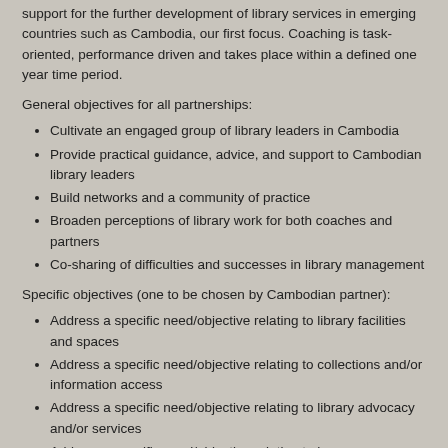support for the further development of library services in emerging countries such as Cambodia, our first focus. Coaching is task-oriented, performance driven and takes place within a defined one year time period.
General objectives for all partnerships:
Cultivate an engaged group of library leaders in Cambodia
Provide practical guidance, advice, and support to Cambodian library leaders
Build networks and a community of practice
Broaden perceptions of library work for both coaches and partners
Co-sharing of difficulties and successes in library management
Specific objectives (one to be chosen by Cambodian partner):
Address a specific need/objective relating to library facilities and spaces
Address a specific need/objective relating to collections and/or information access
Address a specific need/objective relating to library advocacy and/or services
Address a specific need/objective relating to human resources and training needs
Coaches are expected to:
Focus on their partners' needs; assist partners in establishing attainable